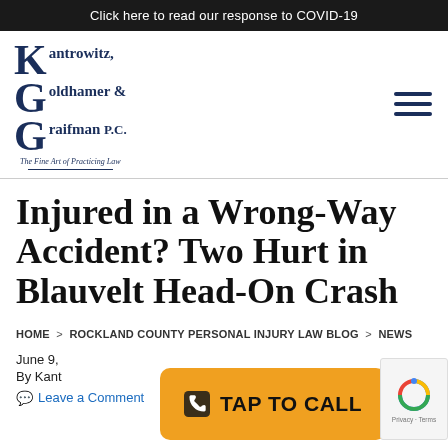Click here to read our response to COVID-19
[Figure (logo): Kantrowitz, Goldhamer & Graifman P.C. law firm logo with decorative serif lettering and tagline 'The Fine Art of Practicing Law']
Injured in a Wrong-Way Accident? Two Hurt in Blauvelt Head-On Crash
HOME > ROCKLAND COUNTY PERSONAL INJURY LAW BLOG > NEWS
June 9,
By Kant
Leave a Comment
[Figure (other): Orange TAP TO CALL button with phone icon and reCAPTCHA badge]